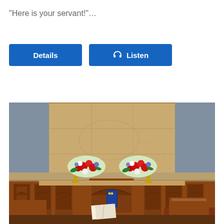“Here is your servant!”…
Details | Listen
[Figure (photo): Interior of a church sanctuary showing an altar area with ornate wooden chairs, two floral arrangements with red and white flowers on either side, a large sandstone panel on the wall behind, and a blue flag/banner on the altar. The walls are painted blue-grey.]